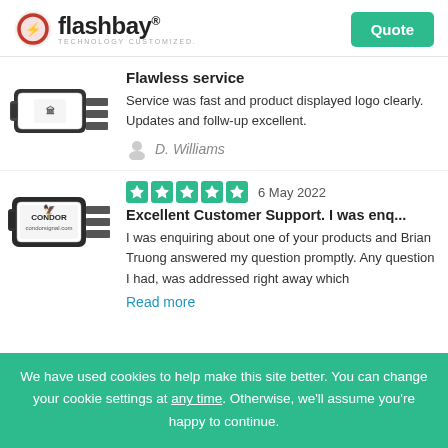flashbay® TECHNOLOGY CUSTOMIZED. Quote
[Figure (photo): USB flash drive with organization logo (bank/institution logo on white label)]
Flawless service
Service was fast and product displayed logo clearly. Updates and follw-up excellent.
D. Williams
[Figure (photo): USB flash drive with Condor brand logo]
6 May 2022
Excellent Customer Support. I was enq...
I was enquiring about one of your products and Brian Truong answered my question promptly. Any question I had, was addressed right away which
Read more
We have used cookies to help make this site better. You can change your cookie settings at any time. Otherwise, we'll assume you're happy to continue.